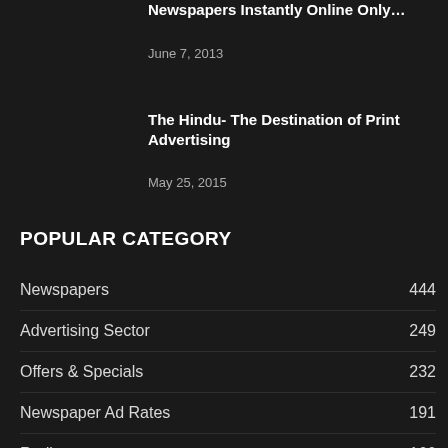Newspapers Instantly Online Only…
June 7, 2013
The Hindu- The Destination of Print Advertising
May 25, 2015
POPULAR CATEGORY
Newspapers 444
Advertising Sector 249
Offers & Specials 232
Newspaper Ad Rates 191
Radio 166
Matrimonial 147
Newspaper Advertisement 108
Magazines 102